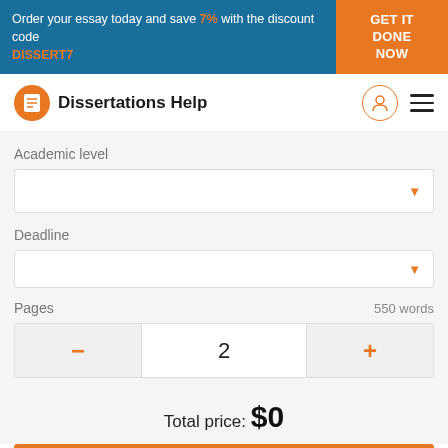Order your essay today and save 7% with the discount code DISSERT7  GET IT DONE NOW
Dissertations Help
Academic level
Deadline
Pages  550 words
– 2 +
Total price: $0
Continue to order